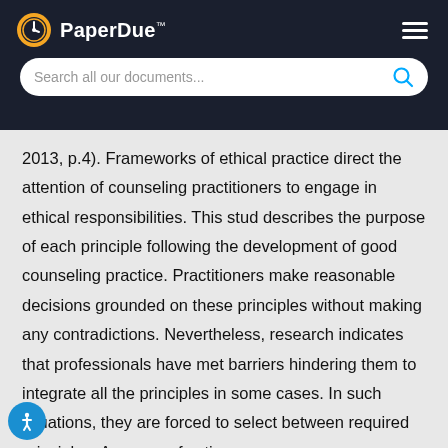PaperDue™
2013, p.4). Frameworks of ethical practice direct the attention of counseling practitioners to engage in ethical responsibilities. This stud describes the purpose of each principle following the development of good counseling practice. Practitioners make reasonable decisions grounded on these principles without making any contradictions. Nevertheless, research indicates that professionals have met barriers hindering them to integrate all the principles in some cases. In such situations, they are forced to select between required principles. A course of action